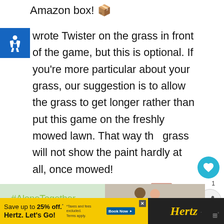Amazon box! 📦
wrote Twister on the grass in front of the game, but this is optional.  If you're more particular about your grass, our suggestion is to allow the grass to get longer rather than put this game on the freshly mowed lawn.  That way the grass will not show the paint hardly at all, once mowed!
[Figure (infographic): Advertisement banner with #AloneTogether text in green on light green background, with photo of two people on right side]
[Figure (infographic): Hertz advertisement on dark/yellow background: Save up to 25% off. Hertz. Let's Go! Book Now button]